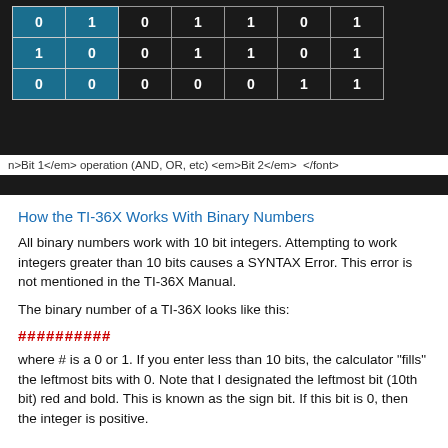[Figure (table-as-image): Truth table showing binary operations (AND, OR, etc) with Bit 1 and Bit 2 columns highlighted in teal/blue, remaining columns in white on dark background]
n>Bit 1</em> operation (AND, OR, etc) <em>Bit 2</em>  </font>
How the TI-36X Works With Binary Numbers
All binary numbers work with 10 bit integers. Attempting to work integers greater than 10 bits causes a SYNTAX Error. This error is not mentioned in the TI-36X Manual.
The binary number of a TI-36X looks like this:
##########
where # is a 0 or 1. If you enter less than 10 bits, the calculator "fills" the leftmost bits with 0. Note that I designated the leftmost bit (10th bit) red and bold. This is known as the sign bit. If this bit is 0, then the integer is positive.